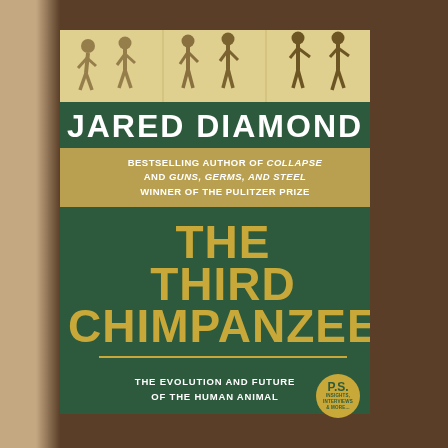[Figure (illustration): Book cover photograph held by a hand — 'The Third Chimpanzee' by Jared Diamond. Top shows beige/tan illustrated panel with silhouette figures depicting human evolution (walking apes to upright human). Below: dark green band with author name in large white bold capitals 'JARED DIAMOND'. Then a gold/tan band reading 'BESTSELLING AUTHOR OF COLLAPSE AND GUNS, GERMS, AND STEEL / WINNER OF THE PULITZER PRIZE'. Then a large dark green section with the title 'THE THIRD CHIMPANZEE' in large bold gold capitals. A gold horizontal line divider. Bottom dark green band: 'THE EVOLUTION AND FUTURE OF THE HUMAN ANIMAL' in white capitals, with a gold circular P.S. badge on the right reading 'P.S. INSIGHTS, INTERVIEWS & MORE...']
THE THIRD CHIMPANZEE
JARED DIAMOND
BESTSELLING AUTHOR OF COLLAPSE AND GUNS, GERMS, AND STEEL WINNER OF THE PULITZER PRIZE
THE EVOLUTION AND FUTURE OF THE HUMAN ANIMAL